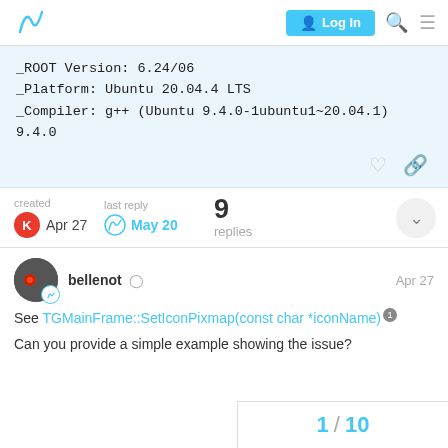Log In
_ROOT Version: 6.24/06
_Platform: Ubuntu 20.04.4 LTS
_Compiler: g++ (Ubuntu 9.4.0-1ubuntu1~20.04.1) 9.4.0
created  Apr 27   last reply  May 20   9 replies
bellenot  Apr 27
See TGMainFrame::SetIconPixmap(const char *iconName)
Can you provide a simple example showing the issue?
1 / 10